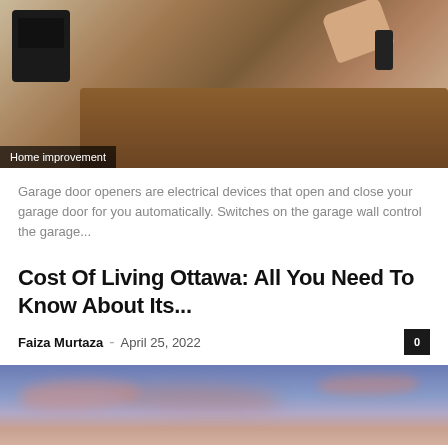[Figure (photo): A garage wall-mounted device (LiftMaster opener) on white paneled wall, with a wooden tray on a table holding papers, a remote, and a phone, with a hand reaching toward a remote. Category badge reads 'Home improvement'.]
Home improvement
Garage door openers are electrical devices that open and close your garage door for you automatically. Switches on the garage wall control the garage...
Cost Of Living Ottawa: All You Need To Know About Its...
Faiza Murtaza  -  April 25, 2022
[Figure (photo): A sky at sunset or sunrise with pink and purple clouds on a blue gradient background.]